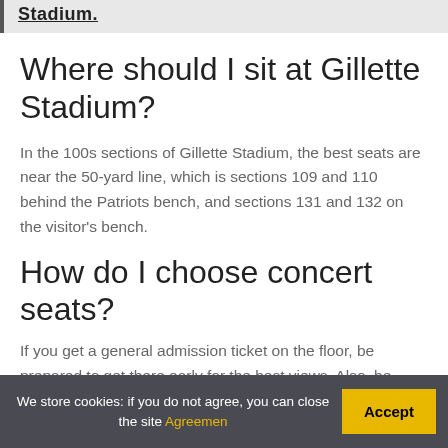Stadium.
Where should I sit at Gillette Stadium?
In the 100s sections of Gillette Stadium, the best seats are near the 50-yard line, which is sections 109 and 110 behind the Patriots bench, and sections 131 and 132 on the visitor's bench.
How do I choose concert seats?
If you get a general admission ticket on the floor, be prepared to get there early for the best views. Also, be
We store cookies: if you do not agree, you can close the site Agreemen